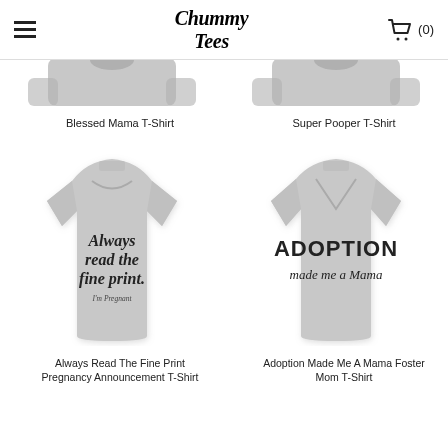Chummy Tees
[Figure (photo): Partial view of a t-shirt product image (Blessed Mama T-Shirt), cropped at top]
[Figure (photo): Partial view of a t-shirt product image (Super Pooper T-Shirt), cropped at top]
Blessed Mama T-Shirt
Super Pooper T-Shirt
[Figure (photo): Gray t-shirt reading 'Always read the fine print.' with small text 'I'm Pregnant']
[Figure (photo): Gray v-neck t-shirt reading 'ADOPTION made me a Mama']
Always Read The Fine Print Pregnancy Announcement T-Shirt
Adoption Made Me A Mama Foster Mom T-Shirt